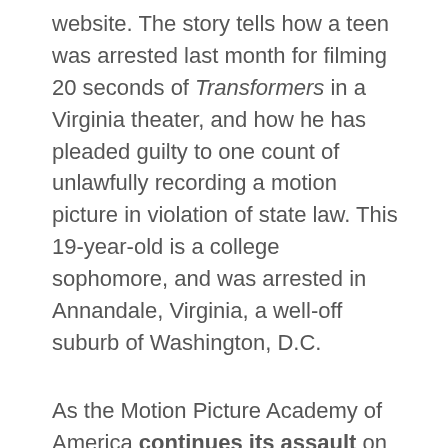website. The story tells how a teen was arrested last month for filming 20 seconds of Transformers in a Virginia theater, and how he has pleaded guilty to one count of unlawfully recording a motion picture in violation of state law. This 19-year-old is a college sophomore, and was arrested in Annandale, Virginia, a well-off suburb of Washington, D.C.
As the Motion Picture Academy of America continues its assault on new media and tries to avoid its death vis-a-vis the Recording Industry Association of America, it shows just how theaters target young people. Recent studies have shown the profile of the average movie pirate to be a 21-24 year-old male; yet the target of this bust was a